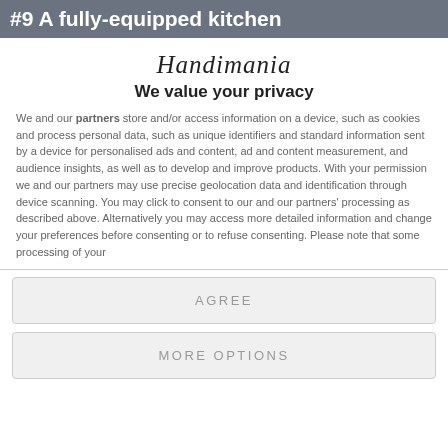#9 A fully-equipped kitchen
Handimania
We value your privacy
We and our partners store and/or access information on a device, such as cookies and process personal data, such as unique identifiers and standard information sent by a device for personalised ads and content, ad and content measurement, and audience insights, as well as to develop and improve products. With your permission we and our partners may use precise geolocation data and identification through device scanning. You may click to consent to our and our partners' processing as described above. Alternatively you may access more detailed information and change your preferences before consenting or to refuse consenting. Please note that some processing of your
AGREE
MORE OPTIONS